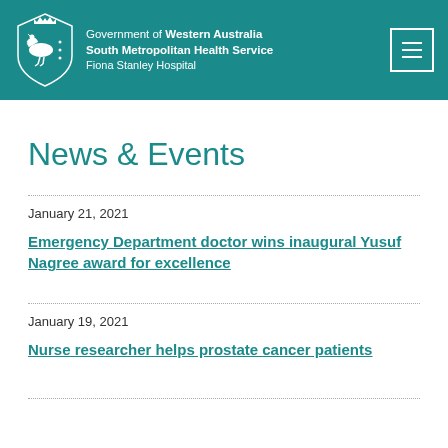Government of Western Australia South Metropolitan Health Service Fiona Stanley Hospital
News & Events
January 21, 2021
Emergency Department doctor wins inaugural Yusuf Nagree award for excellence
January 19, 2021
Nurse researcher helps prostate cancer patients